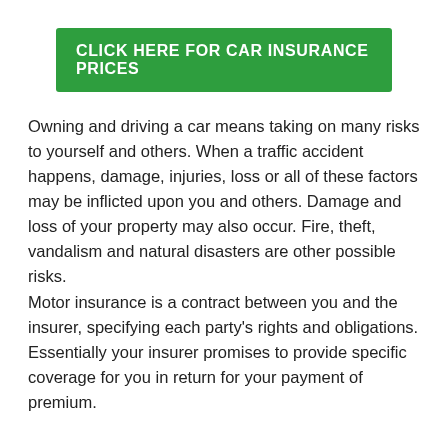CLICK HERE FOR CAR INSURANCE PRICES
Owning and driving a car means taking on many risks to yourself and others. When a traffic accident happens, damage, injuries, loss or all of these factors may be inflicted upon you and others. Damage and loss of your property may also occur. Fire, theft, vandalism and natural disasters are other possible risks.
Motor insurance is a contract between you and the insurer, specifying each party's rights and obligations. Essentially your insurer promises to provide specific coverage for you in return for your payment of premium.